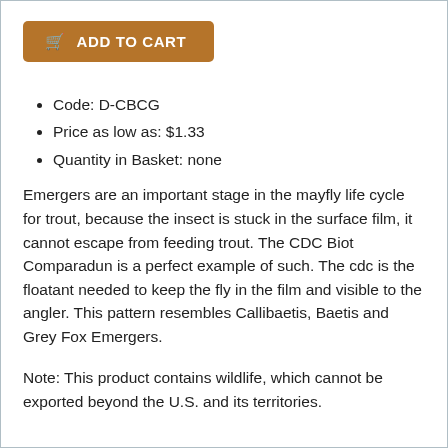[Figure (other): Add to Cart button with shopping cart icon]
Code: D-CBCG
Price as low as: $1.33
Quantity in Basket: none
Emergers are an important stage in the mayfly life cycle for trout, because the insect is stuck in the surface film, it cannot escape from feeding trout. The CDC Biot Comparadun is a perfect example of such. The cdc is the floatant needed to keep the fly in the film and visible to the angler. This pattern resembles Callibaetis, Baetis and Grey Fox Emergers.
Note: This product contains wildlife, which cannot be exported beyond the U.S. and its territories.